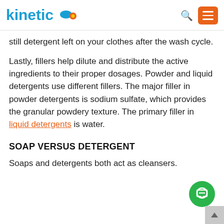kinetico [logo with arrow]
still detergent left on your clothes after the wash cycle.
Lastly, fillers help dilute and distribute the active ingredients to their proper dosages. Powder and liquid detergents use different fillers. The major filler in powder detergents is sodium sulfate, which provides the granular powdery texture. The primary filler in liquid detergents is water.
SOAP VERSUS DETERGENT
Soaps and detergents both act as cleansers.